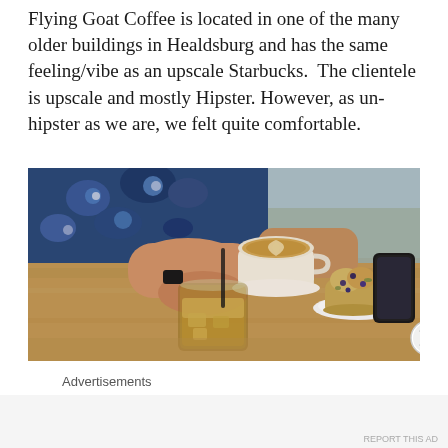Flying Goat Coffee is located in one of the many older buildings in Healdsburg and has the same feeling/vibe as an upscale Starbucks.  The clientele is upscale and mostly Hipster. However, as un-hipster as we are, we felt quite comfortable.
[Figure (photo): A person sitting at a wooden table holding two coffee drinks (a latte with latte art and an iced coffee in a glass), with a muffin on a plate and a smartphone on the table in the background. The person is wearing a floral Hawaiian shirt.]
Advertisements